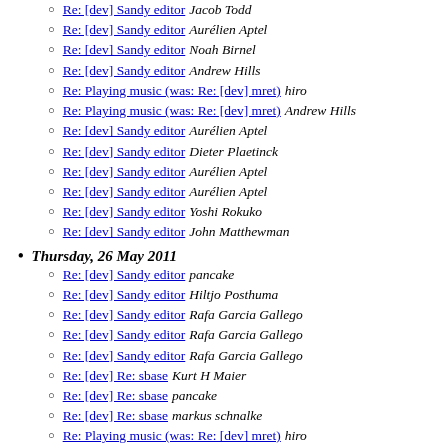Re: [dev] Sandy editor Jacob Todd
Re: [dev] Sandy editor Aurélien Aptel
Re: [dev] Sandy editor Noah Birnel
Re: [dev] Sandy editor Andrew Hills
Re: Playing music (was: Re: [dev] mret) hiro
Re: Playing music (was: Re: [dev] mret) Andrew Hills
Re: [dev] Sandy editor Aurélien Aptel
Re: [dev] Sandy editor Dieter Plaetinck
Re: [dev] Sandy editor Aurélien Aptel
Re: [dev] Sandy editor Aurélien Aptel
Re: [dev] Sandy editor Yoshi Rokuko
Re: [dev] Sandy editor John Matthewman
Thursday, 26 May 2011
Re: [dev] Sandy editor pancake
Re: [dev] Sandy editor Hiltjo Posthuma
Re: [dev] Sandy editor Rafa Garcia Gallego
Re: [dev] Sandy editor Rafa Garcia Gallego
Re: [dev] Sandy editor Rafa Garcia Gallego
Re: [dev] Re: sbase Kurt H Maier
Re: [dev] Re: sbase pancake
Re: [dev] Re: sbase markus schnalke
Re: Playing music (was: Re: [dev] mret) hiro
Playing music (was: Re: [dev] mret) Bjartur Thorlacius
Re: [dev] Sandy editor pancake
Re: [dev] Sandy editor George Jones Smith